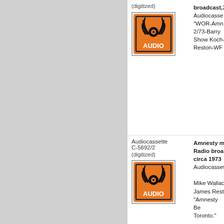[Figure (illustration): Orange AUDIO cassette icon with radio waves]
(digitized)
Audiocassette C-5692/2
broadcast,2 Audiocassette "WOR-Amne 2/73-Barry R Show Koch- Reston-WFV
(digitized)
[Figure (illustration): Orange AUDIO cassette icon with radio waves]
Amnesty m Radio broa circa 1973 Audiocasset Mike Wallac James Rest "Amnesty Be Toronto."
Folder 136
Amnesty m Tomi Schwa (Max Watts undated Typescript d and handwr notes, both French. "Un Histoire d'Expulsion.